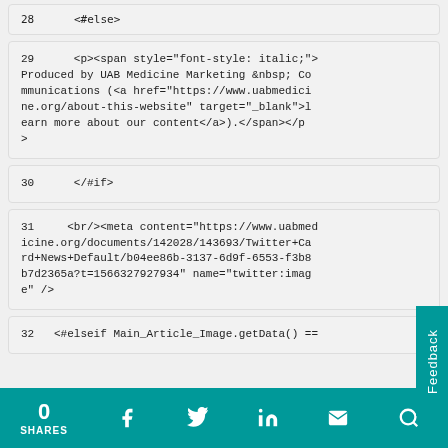28    <#else>
29    <p><span style="font-style: italic;">Produced by UAB Medicine Marketing &nbsp; Communications (<a href="https://www.uabmedicine.org/about-this-website" target="_blank">learn more about our content</a>).</span></p>
30    </#if>
31    <br/><meta content="https://www.uabmedicine.org/documents/142028/143693/Twitter+Card+News+Default/b04ee86b-3137-6d9f-6553-f3b8b7d2365a?t=1566327927934" name="twitter:image" />
32    <#elseif Main_Article_Image.getData() ==
0 SHARES  [Facebook] [Twitter] [LinkedIn] [Email] [Search]  Feedback